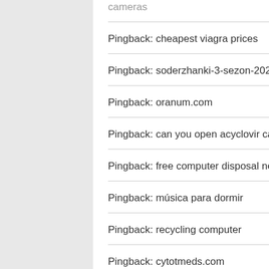cameras
Pingback: cheapest viagra prices
Pingback: soderzhanki-3-sezon-2021.online
Pingback: oranum.com
Pingback: can you open acyclovir capsules
Pingback: free computer disposal near me
Pingback: música para dormir
Pingback: recycling computer
Pingback: cytotmeds.com
Pingback: generic levitra prices